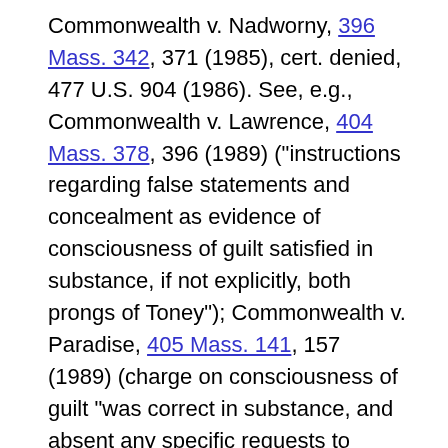Commonwealth v. Nadworny, 396 Mass. 342, 371 (1985), cert. denied, 477 U.S. 904 (1986). See, e.g., Commonwealth v. Lawrence, 404 Mass. 378, 396 (1989) ("instructions regarding false statements and concealment as evidence of consciousness of guilt satisfied in substance, if not explicitly, both prongs of Toney"); Commonwealth v. Paradise, 405 Mass. 141, 157 (1989) (charge on consciousness of guilt "was correct in substance, and absent any specific requests to supplement it, the defendant cannot now argue a new theory on appeal"); Commonwealth v. Lavalley, 410 Mass. 641, 650-652 (1991) (instructions "practically identical to the language found in Toney" created no reversible error); Commonwealth v. Knap, 412 Mass. 712, 716 (1992) (instruction with language different from Toney declared "balanced and in accord with the